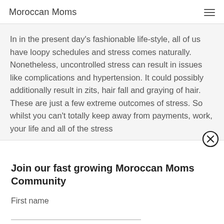Moroccan Moms
In in the present day’s fashionable life-style, all of us have loopy schedules and stress comes naturally. Nonetheless, uncontrolled stress can result in issues like complications and hypertension. It could possibly additionally result in zits, hair fall and graying of hair. These are just a few extreme outcomes of stress. So whilst you can't totally keep away from payments, work, your life and all of the stress
Join our fast growing Moroccan Moms Community
First name